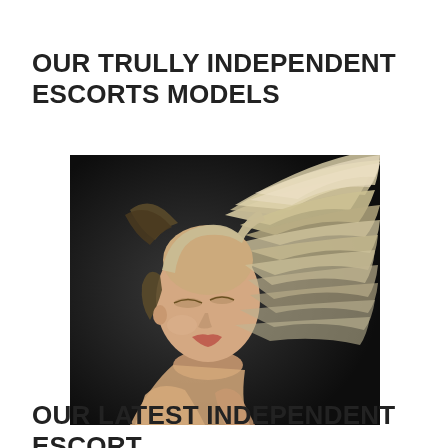OUR TRULLY INDEPENDENT ESCORTS MODELS
[Figure (photo): A blonde woman with flowing hair dramatically swept outward in motion, photographed against a dark background. The image has a glamour/fashion photography style.]
OUR LATEST INDEPENDENT ESCORT